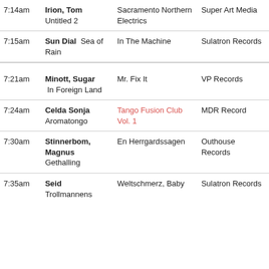| Time | Artist / Track | Album | Label |
| --- | --- | --- | --- |
| 7:14am | Irion, Tom
Untitled 2 | Sacramento Northern Electrics | Super Art Media |
| 7:15am | Sun Dial  Sea of Rain | In The Machine | Sulatron Records |
| 7:21am | Minott, Sugar
In Foreign Land | Mr. Fix It | VP Records |
| 7:24am | Celda Sonja
Aromatongo | Tango Fusion Club Vol. 1 | MDR Records |
| 7:30am | Stinnerbom, Magnus
Gethalling | En Herrgardssagen | Outhouse Records |
| 7:35am | Seid
Trollmannens | Weltschmerz, Baby | Sulatron Records |